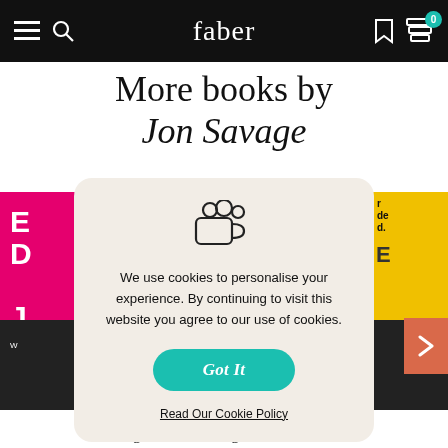faber
More books by Jon Savage
[Figure (screenshot): Cookie consent modal with a cookie/cup icon, text about cookie usage, a teal 'Got It' button, and a 'Read Our Cookie Policy' link. Behind it are partially visible book covers on left (pink/magenta) and right (yellow).]
We use cookies to personalise your experience. By continuing to visit this website you agree to our use of cookies.
Got It
Read Our Cookie Policy